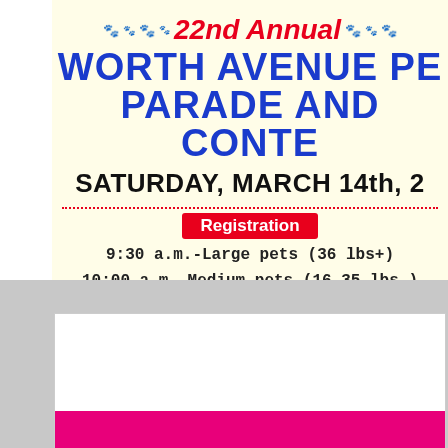22nd Annual WORTH AVENUE PET PARADE AND CONTEST
SATURDAY, MARCH 14th, 2
Registration
9:30 a.m.-Large pets (36 lbs+)
10:00 a.m.-Medium pets (16-35 lbs.)
10:30 a.m.-Small pets (up to 15 lbs.)
CONTEST BEGINS PROMPTLY AT 10
256 Worth Avenue
(across from Tiffany & Chanel)